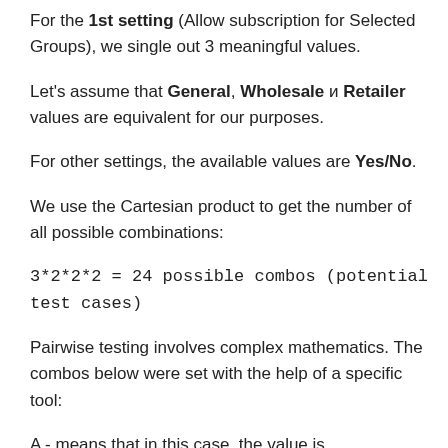For the 1st setting (Allow subscription for Selected Groups), we single out 3 meaningful values.
Let's assume that General, Wholesale и Retailer values are equivalent for our purposes.
For other settings, the available values are Yes/No.
We use the Cartesian product to get the number of all possible combinations:
3*2*2*2 = 24 possible combos (potential test cases)
Pairwise testing involves complex mathematics. The combos below were set with the help of a specific tool:
A - means that in this case, the value is